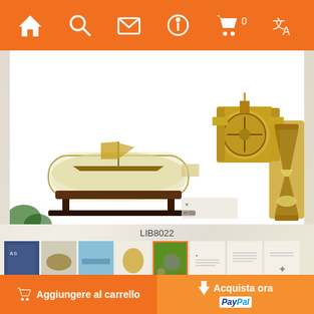Navigation bar with home, search, mail, info, cart (0), translate icons
[Figure (photo): Product main image showing a ship-in-bottle model, a compass/sundial instrument, and a brass hourglass on white background]
LIB8022
[Figure (photo): Thumbnail strip showing 8 product page images]
Prezzo al dettaglio :
34.00 €
Prezzo :
25.00 €
Spese di spedizione :
Aggiungere al carrello | Acquista ora (PayPal)